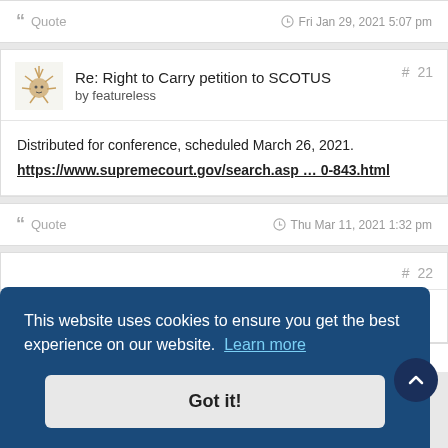Quote   Fri Jan 29, 2021 5:07 pm
Re: Right to Carry petition to SCOTUS  # 21
by featureless
Distributed for conference, scheduled March 26, 2021.
https://www.supremecourt.gov/search.asp ... 0-843.html
Quote   Thu Mar 11, 2021 1:32 pm
# 22
ion
ll
issue process" on all states. Order that states have to use
This website uses cookies to ensure you get the best experience on our website. Learn more
Got it!